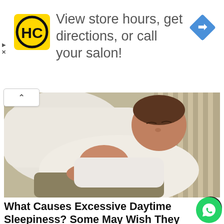[Figure (infographic): HC hair salon logo — yellow square with black HC letters and black circle border]
View store hours, get directions, or call your salon!
[Figure (infographic): Blue diamond-shaped navigation/directions icon with white arrow pointing right]
[Figure (photo): Woman lying on a bed wearing a white shirt and khaki shorts, eyes closed, appearing sleepy or asleep on white pillows with striped bedding]
What Causes Excessive Daytime Sleepiness? Some May Wish They Realized Sooner
Narcolepsy | Search Ads | Sponsored